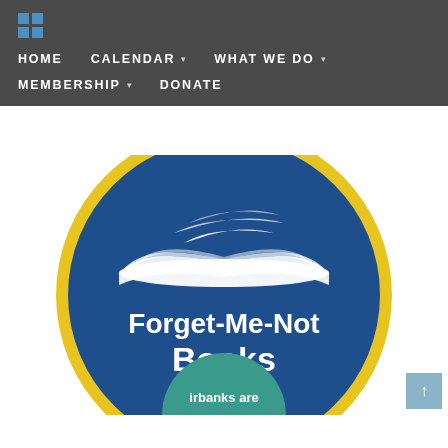HOME | CALENDAR | WHAT WE DO | MEMBERSHIP | DONATE
[Figure (logo): Forget-Me-Not Books circular logo with blue background, yellow border, open book illustration in white, and text 'Forget-Me-Not Books' in white bold font]
[Figure (logo): Partial circular logo at bottom showing teal/green color with text 'irbanks are...' visible]